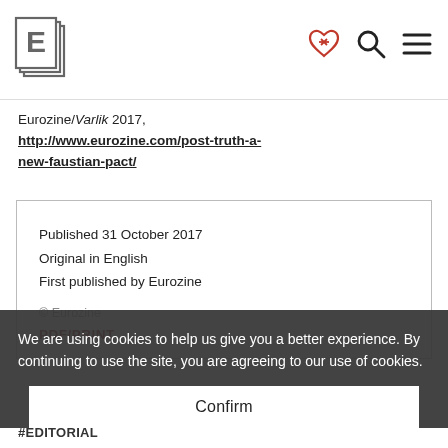[Figure (logo): Eurozine logo — stacked pages with letter E]
[Figure (infographic): Header icons: heart/handshake, search magnifier, hamburger menu]
Eurozine/Varlik 2017, http://www.eurozine.com/post-truth-a-new-faustian-pact/
Published 31 October 2017
Original in English
First published by Eurozine
© Eurozine
PDF/PRINT
We are using cookies to help us give you a better experience. By continuing to use the site, you are agreeing to our use of cookies.
Confirm
#EDITORIAL